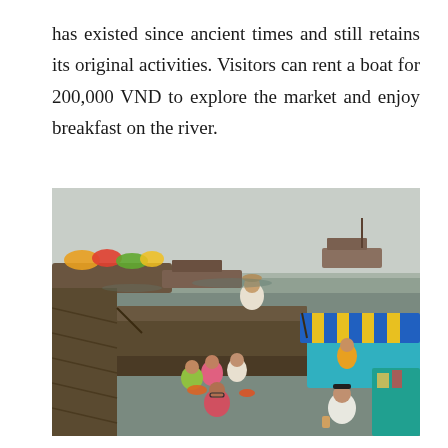has existed since ancient times and still retains its original activities. Visitors can rent a boat for 200,000 VND to explore the market and enjoy breakfast on the river.
[Figure (photo): A busy floating market on a river in Vietnam. People sit on wooden boats eating breakfast. One boat has a blue and yellow striped awning. Produce boats with colorful fruits and vegetables are visible in the background along with larger cargo boats on the water.]